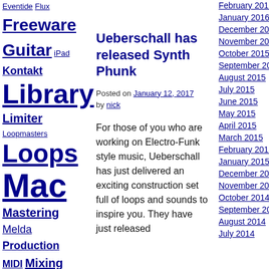Eventide Flux Freeware Guitar iPad Kontakt Library Limiter Loopmasters Loops Mac Mastering Melda Production MIDI Mixing Nomad Factory PC Piano Plug-In Presets Reverb RTAS Samples
Ueberschall has released Synth Phunk
Posted on January 12, 2017 by nick
For those of you who are working on Electro-Funk style music, Ueberschall has just delivered an exciting construction set full of loops and sounds to inspire you. They have just released
February 2016
January 2016
December 2015
November 2015
October 2015
September 2015
August 2015
July 2015
June 2015
May 2015
April 2015
March 2015
February 2015
January 2015
December 2014
November 2014
October 2014
September 2014
August 2014
July 2014